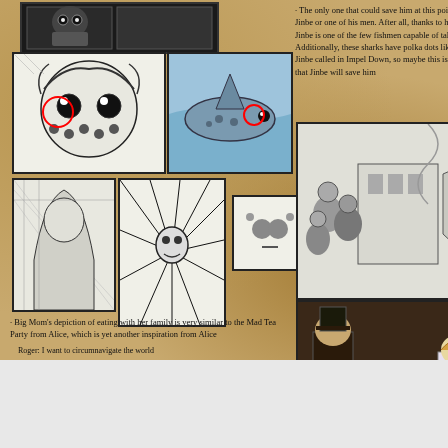[Figure (illustration): Top manga panel strip showing character]
[Figure (illustration): Manga panel showing character face with polka dot pattern and red circle]
[Figure (illustration): Manga panel showing shark with red circle]
· The only one that could save him at this point could be Jinbe or one of his men. After all, thanks to his genetics, Jinbe is one of the few fishmen capable of talking to sharks. Additionally, these sharks have polka dots like those that Jinbe called in Impel Down, so maybe this is a hint from Oda that Jinbe will save him
[Figure (illustration): Bottom left manga panel 1]
[Figure (illustration): Bottom left manga panel 2 with spiky effect]
[Figure (illustration): Small square manga panel with face]
[Figure (illustration): Right top manga panel showing crowd/party scene]
· Big Mom's depiction of eating with her family is very similar to the Mad Tea Party from Alice, which is yet another inspiration from Alice
Roger: I want to circumnavigate the world
Whitebeard: I only want a family
Blackbeard: I want to conquer the world
Shanks: I want... uh... sake?
Luffy: I want to become king of the pirates!
Kaido: I want the strongest devil fruit army
Big Mom: I wanna be shorter :(
[Figure (photo): Photo of Mad Hatter tea party scene from Alice in Wonderland film]
Advertisements
[Figure (infographic): Seamless food delivery advertisement banner with pizza image, Seamless logo, and ORDER NOW button]